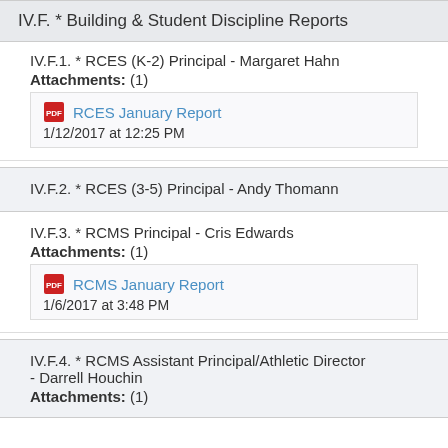IV.F. * Building & Student Discipline Reports
IV.F.1. * RCES (K-2) Principal - Margaret Hahn
Attachments: (1)
RCES January Report
1/12/2017 at 12:25 PM
IV.F.2. * RCES (3-5) Principal - Andy Thomann
IV.F.3. * RCMS Principal - Cris Edwards
Attachments: (1)
RCMS January Report
1/6/2017 at 3:48 PM
IV.F.4. * RCMS Assistant Principal/Athletic Director - Darrell Houchin
Attachments: (1)